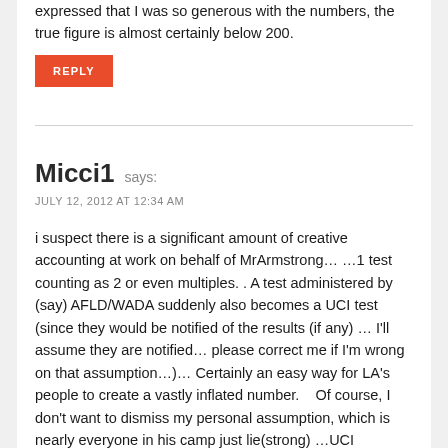expressed that I was so generous with the numbers,  the true figure is almost certainly below 200.
REPLY
Micci1 says:
JULY 12, 2012 AT 12:34 AM
i suspect there is a significant amount of creative accounting at work on behalf of MrArmstrong… …1 test counting as 2 or even multiples. . A test administered by (say) AFLD/WADA suddenly also becomes a UCI test (since they would be notified of the results (if any) … I'll assume they are notified… please correct me if I'm wrong on that assumption…)… Certainly an easy way for LA's people to create a vastly inflated number.    Of course, I don't want to dismiss my personal assumption, which is nearly everyone in his camp just lie(strong) …UCI included…